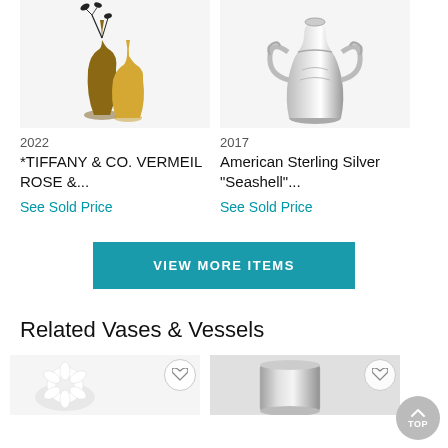[Figure (photo): Two amber/gold toned glass vases with dried branches, on white background]
2022
*TIFFANY & CO. VERMEIL ROSE &...
See Sold Price
[Figure (photo): Ornate American Sterling Silver vase with decorative handles and seashell motifs, on white background]
2017
American Sterling Silver "Seashell"...
See Sold Price
VIEW MORE ITEMS
Related Vases & Vessels
[Figure (photo): White floral / shell-like decorative vessel thumbnail]
[Figure (photo): Silver/chrome cylindrical vessel or cup thumbnail]